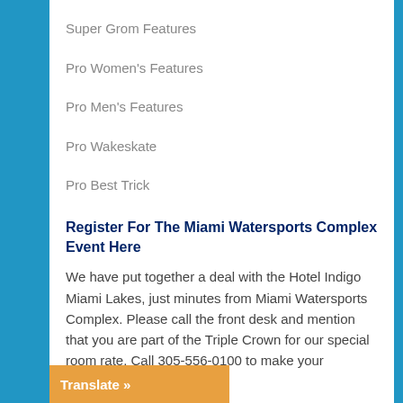Super Grom Features
Pro Women's Features
Pro Men's Features
Pro Wakeskate
Pro Best Trick
Register For The Miami Watersports Complex Event Here
We have put together a deal with the Hotel Indigo Miami Lakes, just minutes from Miami Watersports Complex. Please call the front desk and mention that you are part of the Triple Crown for our special room rate. Call 305-556-0100 to make your reservation